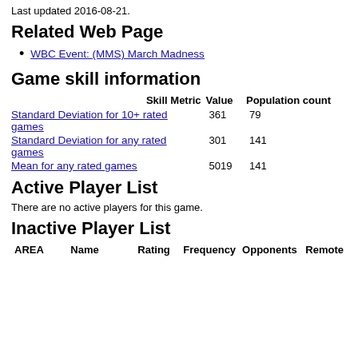Last updated 2016-08-21.
Related Web Page
WBC Event: (MMS) March Madness
Game skill information
| Skill Metric | Value | Population count |
| --- | --- | --- |
| Standard Deviation for 10+ rated games | 361 | 79 |
| Standard Deviation for any rated games | 301 | 141 |
| Mean for any rated games | 5019 | 141 |
Active Player List
There are no active players for this game.
Inactive Player List
| AREA | Name | Rating | Frequency | Opponents | Remote |
| --- | --- | --- | --- | --- | --- |